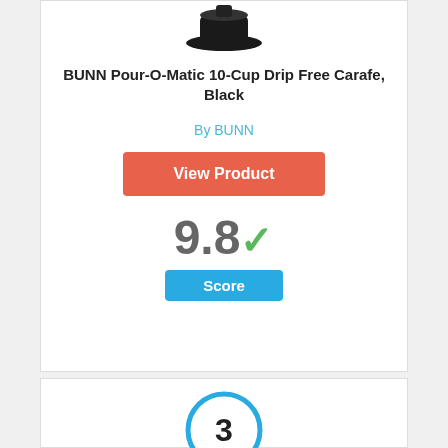[Figure (photo): Product image of BUNN carafe, partially visible at top]
BUNN Pour-O-Matic 10-Cup Drip Free Carafe, Black
By BUNN
View Product
9.8
Score
[Figure (infographic): Ranking circle badge with number 3 inside, blue border]
[Figure (photo): Product image partially visible at bottom of page]